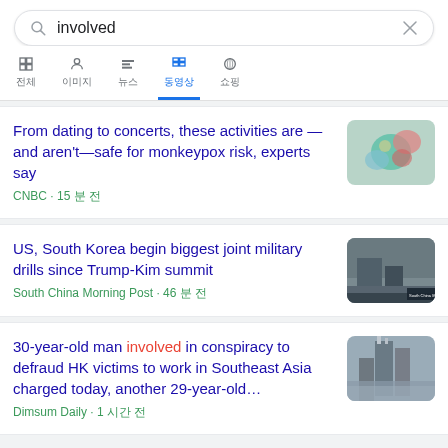involved (search query)
From dating to concerts, these activities are —and aren't—safe for monkeypox risk, experts say | CNBC - 15 분 전
US, South Korea begin biggest joint military drills since Trump-Kim summit | South China Morning Post - 46 분 전
30-year-old man involved in conspiracy to defraud HK victims to work in Southeast Asia charged today, another 29-year-old… | Dimsum Daily - 1 시간 전